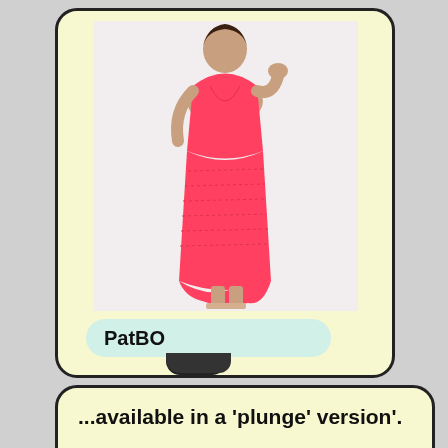[Figure (photo): A model wearing a coral/pink halter-neck maxi dress with crochet/lace skirt detail, standing against a white background. The dress has a deep V-neckline and a tiered ruffled skirt. Model wears tan sandals.]
PatBO
...available in a 'plunge' version'.